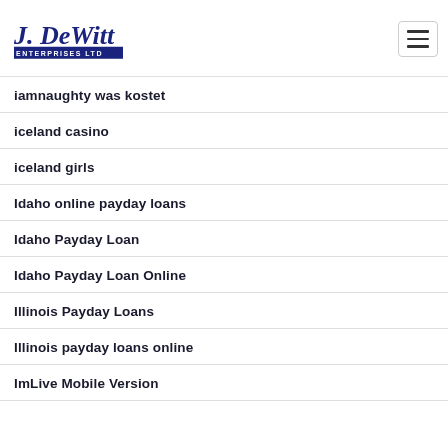J. DeWitt Enterprises Ltd
iamnaughty was kostet
iceland casino
iceland girls
Idaho online payday loans
Idaho Payday Loan
Idaho Payday Loan Online
Illinois Payday Loans
Illinois payday loans online
ImLive Mobile Version